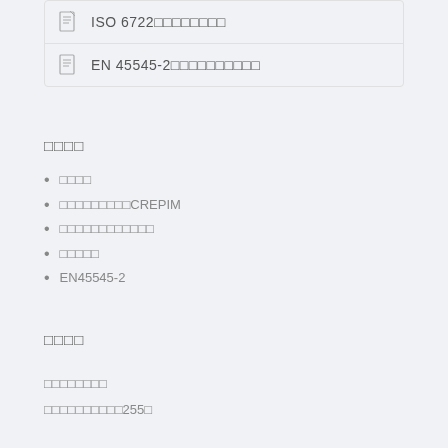ISO 6722□□□□□□□□
EN 45545-2□□□□□□□□□□
□□□□
□□□□
□□□□□□□□□CREPIM
□□□□□□□□□□□□
□□□□□
EN45545-2
□□□□
□□□□□□□□
□□□□□□□□□□255□